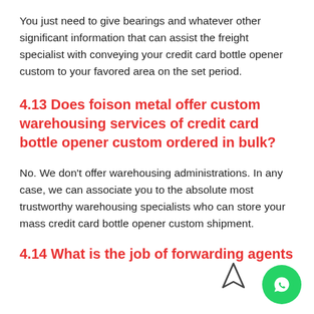You just need to give bearings and whatever other significant information that can assist the freight specialist with conveying your credit card bottle opener custom to your favored area on the set period.
4.13 Does foison metal offer custom warehousing services of credit card bottle opener custom ordered in bulk?
No. We don't offer warehousing administrations. In any case, we can associate you to the absolute most trustworthy warehousing specialists who can store your mass credit card bottle opener custom shipment.
4.14 What is the job of forwarding agents